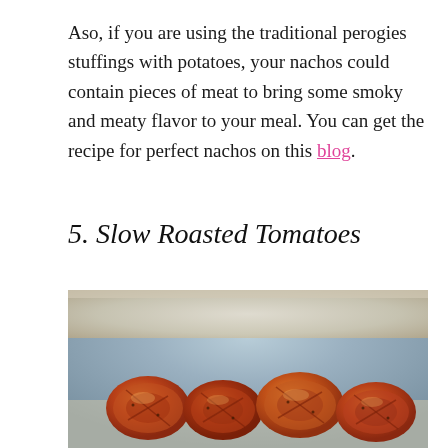Aso, if you are using the traditional perogies stuffings with potatoes, your nachos could contain pieces of meat to bring some smoky and meaty flavor to your meal. You can get the recipe for perfect nachos on this blog.
5. Slow Roasted Tomatoes
[Figure (photo): Close-up photo of slow roasted tomatoes on a baking sheet. The tomatoes are caramelized and shriveled, with deep red and orange hues, glistening with oil and seasoning, arranged on a rustic baking tray.]